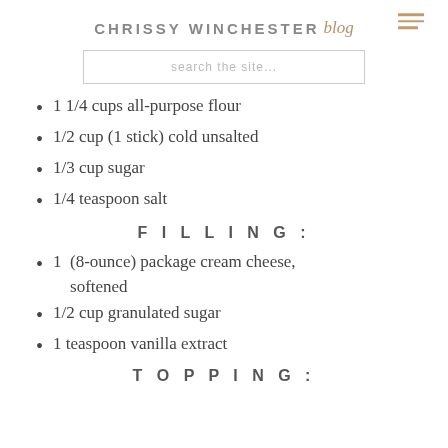CHRISSY WINCHESTER blog
1 1/4 cups all-purpose flour
1/2 cup (1 stick) cold unsalted
1/3 cup sugar
1/4 teaspoon salt
FILLING:
1 (8-ounce) package cream cheese, softened
1/2 cup granulated sugar
1 teaspoon vanilla extract
TOPPING: